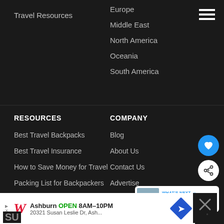Travel Resources
Europe
Middle East
North America
Oceania
South America
RESOURCES
Best Travel Backpacks
Best Travel Insurance
How to Save Money for Travel
Packing List for Backpackers
How to Start a Blog
COMPANY
Blog
About Us
Contact Us
Advertise
Privacy Policy
Terms of Use
[Figure (infographic): WHAT'S NEXT card with cyclist image and text '10 Best Bike Shorts and...']
Ashburn OPEN 8AM–10PM 20321 Susan Leslie Dr, Ash...